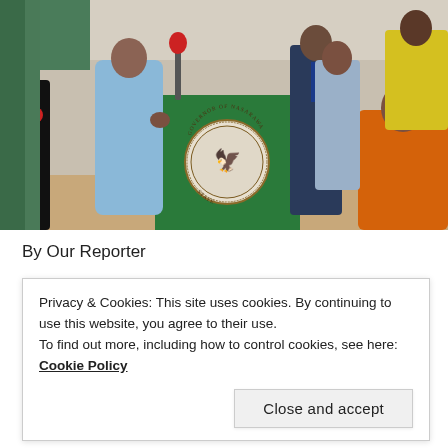[Figure (photo): A man in a light blue traditional Nigerian outfit speaking at a green podium bearing the seal of the Governor of Nasarawa State, with a red microphone, flanked by officials and attendees in a formal indoor setting.]
By Our Reporter
Privacy & Cookies: This site uses cookies. By continuing to use this website, you agree to their use.
To find out more, including how to control cookies, see here: Cookie Policy
Close and accept